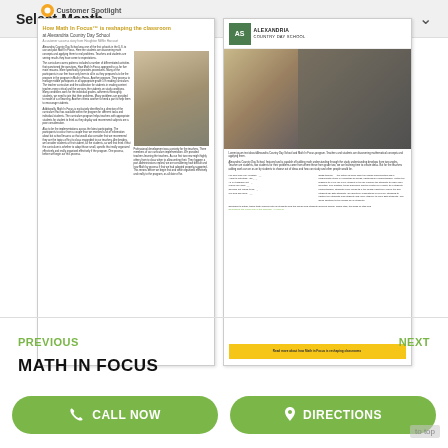Select Month
[Figure (screenshot): Screenshot of a website showing a Customer Spotlight article thumbnail. Left page shows 'How Math In Focus is reshaping the classroom at Alexandria Country Day School' with text columns and a photo of students. Right page shows Alexandria Country Day School header with logo, photo of students at desks, text content, and a yellow call-to-action bar at the bottom.]
PREVIOUS
NEXT
MATH IN FOCUS
CALL NOW
DIRECTIONS